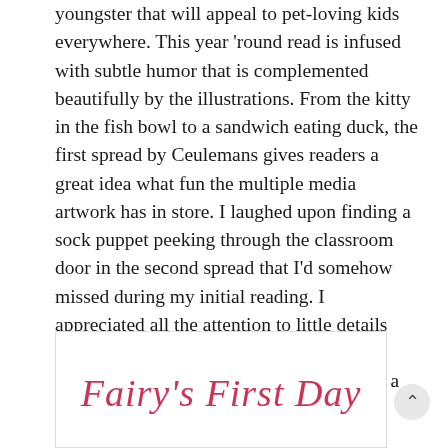youngster that will appeal to pet-loving kids everywhere. This year 'round read is infused with subtle humor that is complemented beautifully by the illustrations. From the kitty in the fish bowl to a sandwich eating duck, the first spread by Ceulemans gives readers a great idea what fun the multiple media artwork has in store. I laughed upon finding a sock puppet peeking through the classroom door in the second spread that I'd somehow missed during my initial reading. I appreciated all the attention to little details whether that is a student about to eat a shovelful of dirt or Bott's slippers. Pick up a copy today and enjoy!
[Figure (illustration): Book cover or title graphic showing 'Fairy's First Day' in pink/red italic script on a white background with a decorative border]